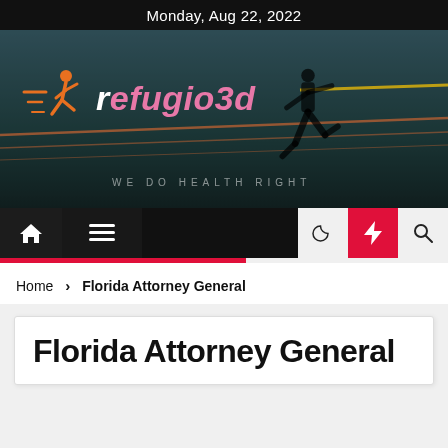Monday, Aug 22, 2022
[Figure (photo): Website banner/header for refugio3d: dark background with a runner silhouette and the logo showing an orange running figure with the brand name 'refugio3d' in pink italic text and tagline 'WE DO HEALTH RIGHT']
Home > Florida Attorney General
Florida Attorney General